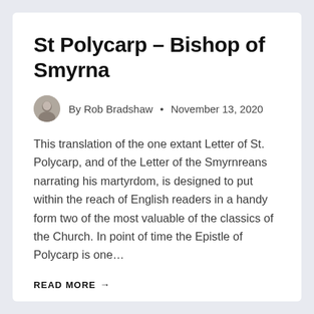St Polycarp – Bishop of Smyrna
By Rob Bradshaw • November 13, 2020
This translation of the one extant Letter of St. Polycarp, and of the Letter of the Smyrnreans narrating his martyrdom, is designed to put within the reach of English readers in a handy form two of the most valuable of the classics of the Church. In point of time the Epistle of Polycarp is one…
READ MORE →